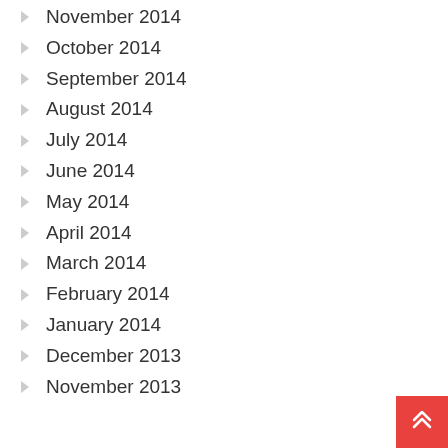November 2014
October 2014
September 2014
August 2014
July 2014
June 2014
May 2014
April 2014
March 2014
February 2014
January 2014
December 2013
November 2013